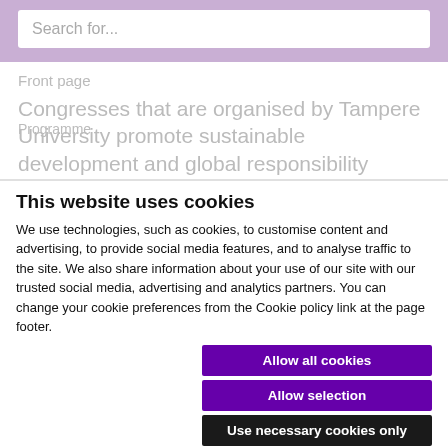Search for...
Front page
Congresses that are organised by Tampere University promote sustainable development and global responsibility
Programme
This website uses cookies
We use technologies, such as cookies, to customise content and advertising, to provide social media features, and to analyse traffic to the site. We also share information about your use of our site with our trusted social media, advertising and analytics partners. You can change your cookie preferences from the Cookie policy link at the page footer.
Allow all cookies
Allow selection
Use necessary cookies only
Necessary  Preferences  Statistics  Marketing  Show details